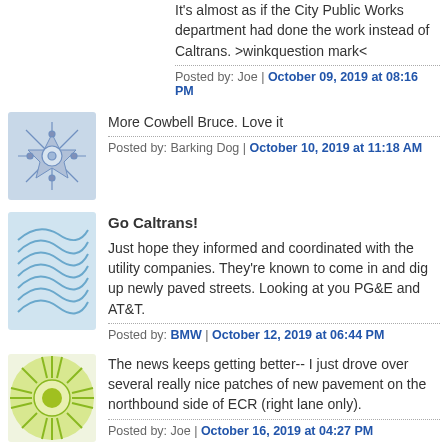It's almost as if the City Public Works department had done the work instead of Caltrans. >winkquestion mark<
Posted by: Joe | October 09, 2019 at 08:16 PM
[Figure (illustration): Blue decorative snowflake/geometric pattern avatar]
More Cowbell Bruce. Love it
Posted by: Barking Dog | October 10, 2019 at 11:18 AM
[Figure (illustration): Blue wavy lines / shell pattern avatar]
Go Caltrans!
Just hope they informed and coordinated with the utility companies. They're known to come in and dig up newly paved streets. Looking at you PG&E and AT&T.
Posted by: BMW | October 12, 2019 at 06:44 PM
[Figure (illustration): Green sunburst with circle center avatar]
The news keeps getting better-- I just drove over several really nice patches of new pavement on the northbound side of ECR (right lane only).
Posted by: Joe | October 16, 2019 at 04:27 PM
[Figure (illustration): Partial avatar at bottom]